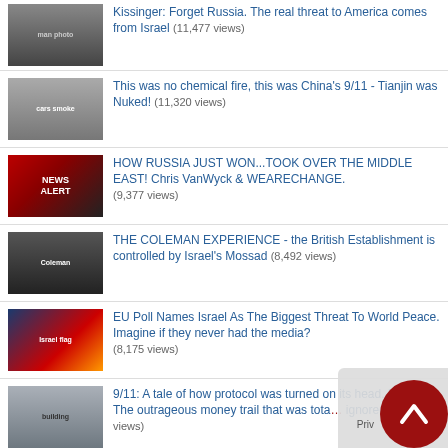Kissinger: Forget Russia. The real threat to America comes from Israel (11,477 views)
This was no chemical fire, this was China's 9/11 - Tianjin was Nuked! (11,320 views)
HOW RUSSIA JUST WON...TOOK OVER THE MIDDLE EAST! Chris VanWyck & WEARECHANGE. (9,377 views)
THE COLEMAN EXPERIENCE - the British Establishment is controlled by Israel's Mossad (8,492 views)
EU Poll Names Israel As The Biggest Threat To World Peace. Imagine if they never had the media? (8,175 views)
9/11: A tale of how protocol was turned on its head. Part 1 - The outrageous money trail that was totally ignored. (7,932 views)
100's of pilots have stated the official account of